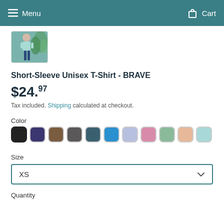Menu  Cart
[Figure (photo): Thumbnail of a person wearing a light teal short-sleeve t-shirt, standing outdoors near greenery.]
Short-Sleeve Unisex T-Shirt - BRAVE
$24.97
Tax included. Shipping calculated at checkout.
Color
[Figure (other): Row of 11 color swatches: black, dark purple, brown, dark gray, dark teal, bright blue, light purple/lavender, pink, sage green, peach, light teal]
Size
XS
Quantity